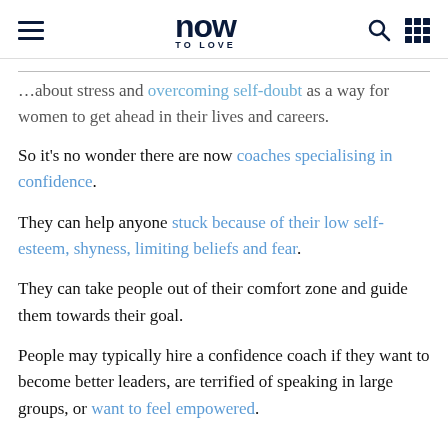now to love
…about stress and overcoming self-doubt as a way for women to get ahead in their lives and careers.
So it's no wonder there are now coaches specialising in confidence.
They can help anyone stuck because of their low self-esteem, shyness, limiting beliefs and fear.
They can take people out of their comfort zone and guide them towards their goal.
People may typically hire a confidence coach if they want to become better leaders, are terrified of speaking in large groups, or want to feel empowered.